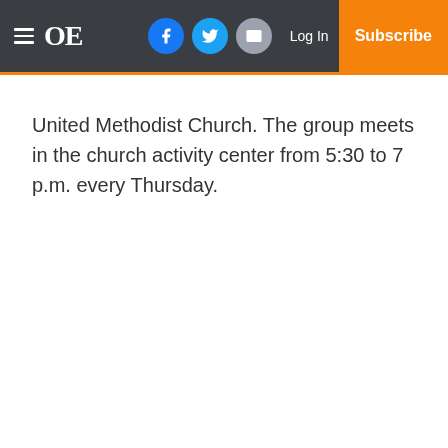OE | Log In | Subscribe
United Methodist Church. The group meets in the church activity center from 5:30 to 7 p.m. every Thursday.